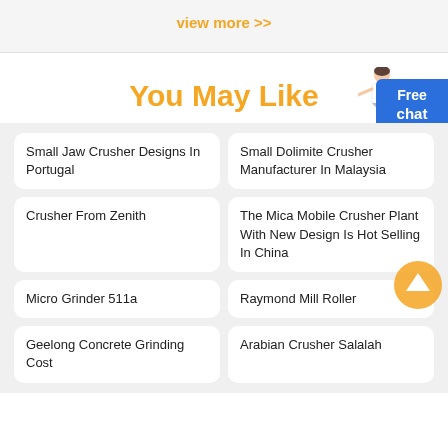view more >>
You May Like
Small Jaw Crusher Designs In Portugal
Small Dolimite Crusher Manufacturer In Malaysia
Crusher From Zenith
The Mica Mobile Crusher Plant With New Design Is Hot Selling In China
Micro Grinder 511a
Raymond Mill Roller
Geelong Concrete Grinding Cost
Arabian Crusher Salalah